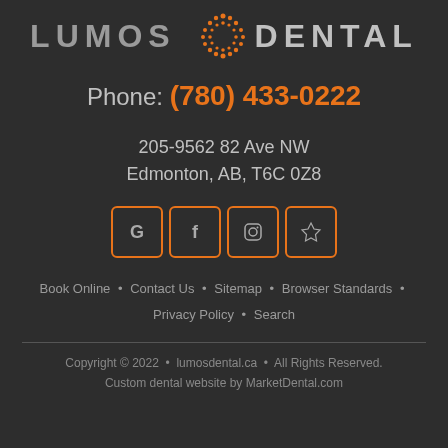[Figure (logo): Lumos Dental logo with orange dot-pattern circle icon and text LUMOS DENTAL]
Phone: (780) 433-0222
205-9562 82 Ave NW
Edmonton, AB, T6C 0Z8
[Figure (other): Four social media icon buttons with orange borders: Google, Facebook, Instagram, Star/Bookmark]
Book Online • Contact Us • Sitemap • Browser Standards • Privacy Policy • Search
Copyright © 2022 • lumosdental.ca • All Rights Reserved.
Custom dental website by MarketDental.com